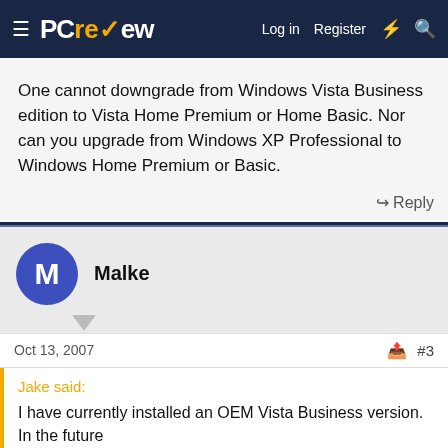PCreview — Log in  Register
One cannot downgrade from Windows Vista Business edition to Vista Home Premium or Home Basic. Nor can you upgrade from Windows XP Professional to Windows Home Premium or Basic.
Reply
Malke
Oct 13, 2007  #3
Jake said:
I have currently installed an OEM Vista Business version. In the future I will make some hardware changes, and I therefor plan to replace